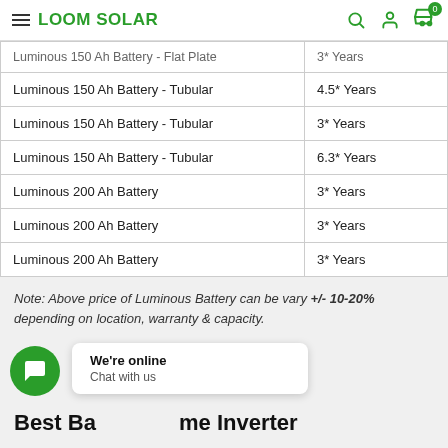LOOM SOLAR
| Product | Warranty |
| --- | --- |
| Luminous 150 Ah Battery - Flat Plate | 3* Years |
| Luminous 150 Ah Battery - Tubular | 4.5* Years |
| Luminous 150 Ah Battery - Tubular | 3* Years |
| Luminous 150 Ah Battery - Tubular | 6.3* Years |
| Luminous 200 Ah Battery | 3* Years |
| Luminous 200 Ah Battery | 3* Years |
| Luminous 200 Ah Battery | 3* Years |
Note: Above price of Luminous Battery can be vary +/- 10-20% depending on location, warranty & capacity.
Best Battery Home Inverter